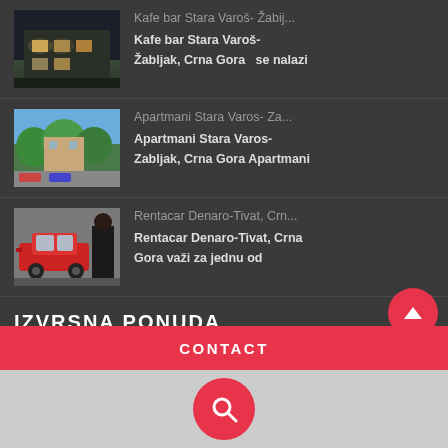Kafe bar Stara Varoš- Žabij...
Kafe bar Stara Varoš- Žabljak, Crna Gora  se nalazi
Apartmani Stara Varos- Za...
Apartmani Stara Varos-Zabljak, Crna Gora Apartmani
Rentacar Denaro-Tivat, Crn...
Rentacar Denaro-Tivat, Crna Gora važi za jednu od
IZVRSNA PONUDA
CONTACT